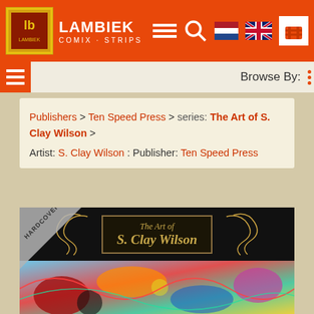LAMBIEK COMIX · STRIPS
Browse By:
Publishers > Ten Speed Press > series: The Art of S. Clay Wilson >
Artist: S. Clay Wilson : Publisher: Ten Speed Press
[Figure (photo): Book cover of 'The Art of S. Clay Wilson' published by Ten Speed Press. Top half shows title on dark background with decorative gold lettering. Bottom half shows colorful psychedelic comic art.]